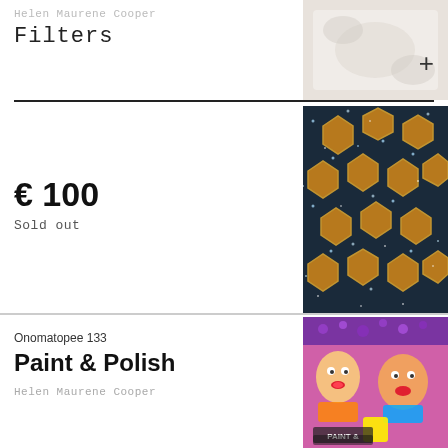Helen Maurene Cooper
Filters
[Figure (photo): Top right background image of white fabric/textile]
[Figure (photo): Dark teal/navy fabric with geometric orange and glitter hexagon pattern]
€ 100
Sold out
Onomatopee 133
Paint & Polish
Helen Maurene Cooper
[Figure (photo): Colorful book cover showing clowns and glitter - Paint & Polish by Helen Maurene Cooper]